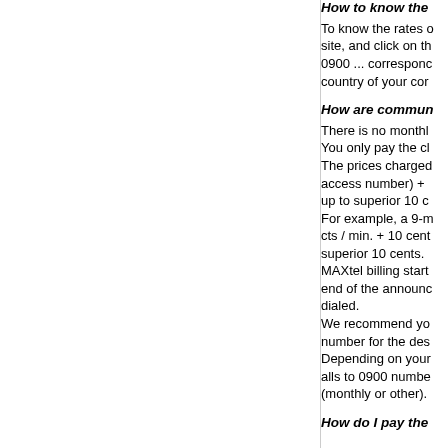How to know the
To know the rates o site, and click on th 0900 ... correspon country of your cor
How are commun
There is no monthl You only pay the cl The prices charged access number) + up to superior 10 c For example, a 9-m cts / min. + 10 cent superior 10 cents. MAXtel billing start end of the announc dialed. We recommend yo number for the des Depending on your alls to 0900 numbe (monthly or other).
How do I pay the